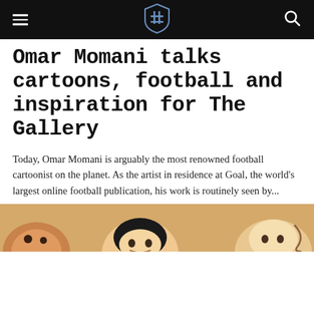Goal (logo/shield icon)
Omar Momani talks cartoons, football and inspiration for The Gallery
Today, Omar Momani is arguably the most renowned football cartoonist on the planet. As the artist in residence at Goal, the world's largest online football publication, his work is routinely seen by...
[Figure (illustration): Bottom portion of a cartoon illustration showing caricatured football figures on a tan/ochre background, partially cropped]